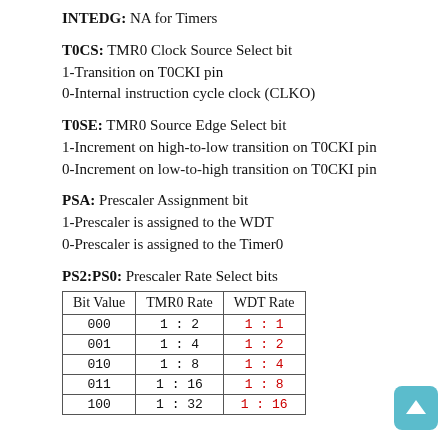INTEDG: NA for Timers
T0CS: TMR0 Clock Source Select bit
1-Transition on T0CKI pin
0-Internal instruction cycle clock (CLKO)
T0SE: TMR0 Source Edge Select bit
1-Increment on high-to-low transition on T0CKI pin
0-Increment on low-to-high transition on T0CKI pin
PSA: Prescaler Assignment bit
1-Prescaler is assigned to the WDT
0-Prescaler is assigned to the Timer0
PS2:PS0: Prescaler Rate Select bits
| Bit Value | TMR0 Rate | WDT Rate |
| --- | --- | --- |
| 000 | 1 : 2 | 1 : 1 |
| 001 | 1 : 4 | 1 : 2 |
| 010 | 1 : 8 | 1 : 4 |
| 011 | 1 : 16 | 1 : 8 |
| 100 | 1 : 32 | 1 : 16 |